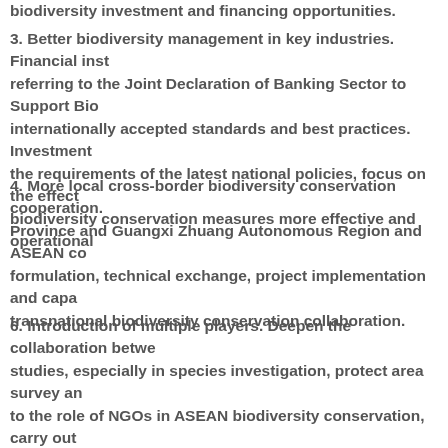biodiversity investment and financing opportunities.
3. Better biodiversity management in key industries. Financial inst referring to the Joint Declaration of Banking Sector to Support Bio internationally accepted standards and best practices. Investment the requirements of the latest national policies, focus on the effect biodiversity conservation measures more effective and operational
4. More local cross-border biodiversity conservation cooperation. Province and Guangxi Zhuang Autonomous Region and ASEAN co formulation, technical exchange, project implementation and capa transnational biodiversity conservation collaboration.
6. Introduction of multiple players. Deepen the collaboration betwe studies, especially in species investigation, protect area survey an to the role of NGOs in ASEAN biodiversity conservation, carry out biodiversity conservation project, and strengthen capacity buildin